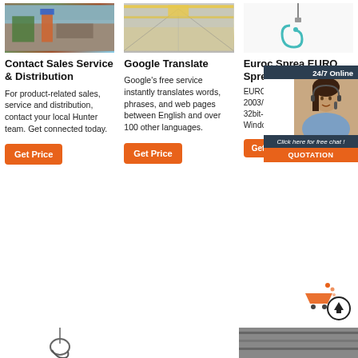[Figure (photo): Construction site photo with machinery and dirt]
[Figure (photo): Industrial warehouse interior with overhead crane]
[Figure (photo): Hook/pulley hanging equipment on white background]
Contact Sales Service & Distribution
For product-related sales, service and distribution, contact your local Hunter team. Get connected today.
Get Price
Google Translate
Google's free service instantly translates words, phrases, and web pages between English and over 100 other languages.
Get Price
Euroc Sprea EURO Sprea
EUROC Spreads Microsoft 2003/20 2016/36 default i both 32bit-64bit Microsoft ® Windows®.
Get Price
[Figure (photo): 24/7 Online customer service representative chat widget]
[Figure (photo): Bottom row partial images: hook and industrial surface]